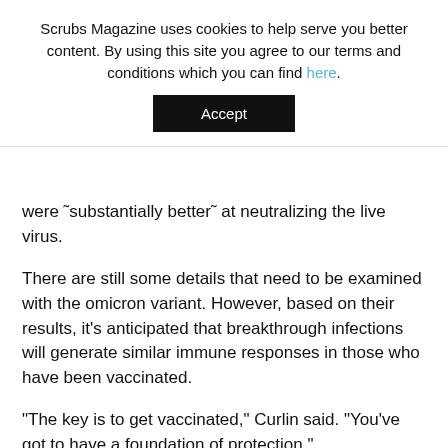Scrubs Magazine uses cookies to help serve you better content. By using this site you agree to our terms and conditions which you can find here.
Accept
were "substantially better" at neutralizing the live virus.
There are still some details that need to be examined with the omicron variant. However, based on their results, it’s anticipated that breakthrough infections will generate similar immune responses in those who have been vaccinated.
“The key is to get vaccinated,” Curlin said. “You’ve got to have a foundation of protection.”
Post Views: 1,430